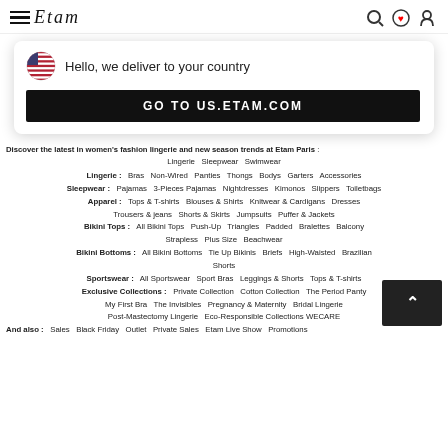Etam website header with hamburger menu, logo, search, wishlist, and account icons
[Figure (screenshot): Popup card: US flag icon with text 'Hello, we deliver to your country' and a black button 'GO TO US.ETAM.COM']
Discover the latest in women's fashion lingerie and new season trends at Etam Paris : Lingerie Sleepwear Swimwear
Lingerie : Bras Non-Wired Panties Thongs Bodys Garters Accessories
Sleepwear : Pajamas 3-Pieces Pajamas Nightdresses Kimonos Slippers Toiletbags
Apparel : Tops & T-shirts Blouses & Shirts Knitwear & Cardigans Dresses Trousers & jeans Shorts & Skirts Jumpsuits Puffer & Jackets
Bikini Tops : All Bikini Tops Push-Up Triangles Padded Bralettes Balcony Strapless Plus Size Beachwear
Bikini Bottoms : All Bikini Bottoms Tie Up Bikinis Briefs High-Waisted Brazilian Shorts
Sportswear : All Sportswear Sport Bras Leggings & Shorts Tops & T-shirts
Exclusive Collections : Private Collection Cotton Collection The Period Panty My First Bra The Invisibles Pregnancy & Maternity Bridal Lingerie Post-Mastectomy Lingerie Eco-Responsible Collections WECARE
And also : Sales Black Friday Outlet Private Sales Etam Live Show Promotions